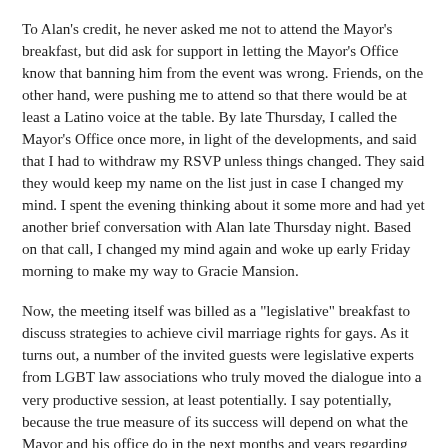To Alan's credit, he never asked me not to attend the Mayor's breakfast, but did ask for support in letting the Mayor's Office know that banning him from the event was wrong. Friends, on the other hand, were pushing me to attend so that there would be at least a Latino voice at the table. By late Thursday, I called the Mayor's Office once more, in light of the developments, and said that I had to withdraw my RSVP unless things changed. They said they would keep my name on the list just in case I changed my mind. I spent the evening thinking about it some more and had yet another brief conversation with Alan late Thursday night. Based on that call, I changed my mind again and woke up early Friday morning to make my way to Gracie Mansion.
Now, the meeting itself was billed as a "legislative" breakfast to discuss strategies to achieve civil marriage rights for gays. As it turns out, a number of the invited guests were legislative experts from LGBT law associations who truly moved the dialogue into a very productive session, at least potentially. I say potentially, because the true measure of its success will depend on what the Mayor and his office do in the next months and years regarding the proposed political and legislative strategies.